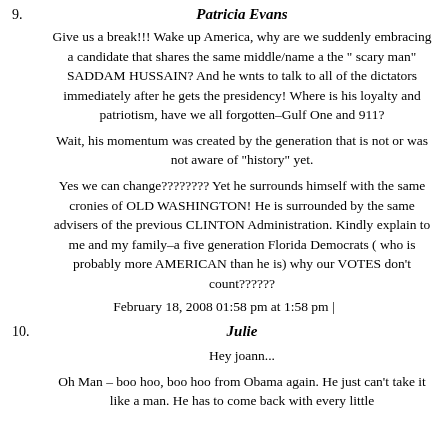9. Patricia Evans

Give us a break!!! Wake up America, why are we suddenly embracing a candidate that shares the same middle/name a the " scary man" SADDAM HUSSAIN? And he wnts to talk to all of the dictators immediately after he gets the presidency! Where is his loyalty and patriotism, have we all forgotten–Gulf One and 911?

Wait, his momentum was created by the generation that is not or was not aware of "history" yet.

Yes we can change???????? Yet he surrounds himself with the same cronies of OLD WASHINGTON! He is surrounded by the same advisers of the previous CLINTON Administration. Kindly explain to me and my family–a five generation Florida Democrats ( who is probably more AMERICAN than he is) why our VOTES don't count??????

February 18, 2008 01:58 pm at 1:58 pm |
10. Julie

Hey joann...

Oh Man – boo hoo, boo hoo from Obama again. He just can't take it like a man. He has to come back with every little